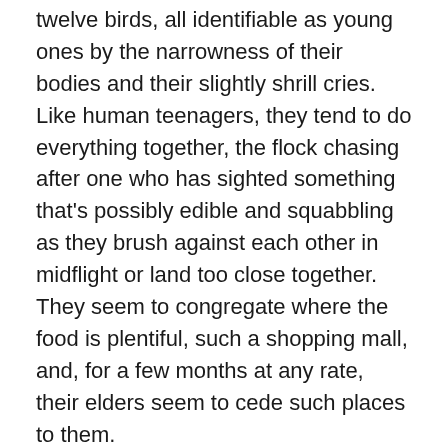twelve birds, all identifiable as young ones by the narrowness of their bodies and their slightly shrill cries. Like human teenagers, they tend to do everything together, the flock chasing after one who has sighted something that's possibly edible and squabbling as they brush against each other in midflight or land too close together. They seem to congregate where the food is plentiful, such a shopping mall, and, for a few months at any rate, their elders seem to cede such places to them.
At this stage, the young crows are clumsy – which isn't surprising, considering how fast most birds grow in their first few months. They simply haven't had time to learn coordination in the middle of their constant growth. Frequently, they'll try to land on a branch too small for their weight, and lose their footing as the branch whips up and down. They haven't learned, either, to coordinate hopping